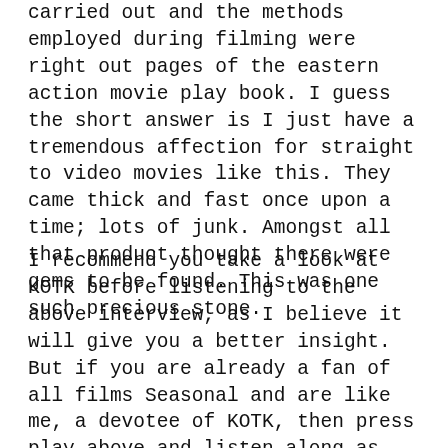carried out and the methods employed during filming were right out pages of the eastern action movie play book. I guess the short answer is I just have a tremendous affection for straight to video movies like this. They came thick and fast once upon a time; lots of junk. Amongst all that product thought there were gems to be found. This was one such precious stone.
I recommend you take a look at KOTK before listening to the above interview, as I believe it will give you a better insight. But if you are already a fan of all films Seasonal and are like me, a devotee of KOTK, then press play above and listen along as the star of the show takes us behind the scenes of a movie that may have been forced upon me initially, but which now I watch over and over with both a warmth nostalgia and ever-increasing fondness.